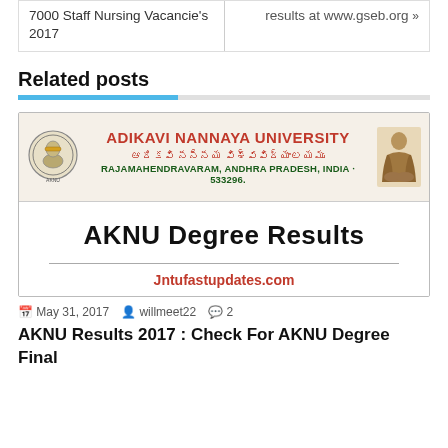7000 Staff Nursing Vacancie's 2017
results at www.gseb.org »
Related posts
[Figure (screenshot): Adikavi Nannaya University banner showing university name in red, Telugu script in red, location in green (RAJAMAHENDRAVARAM, ANDHRA PRADESH, INDIA - 533296), with university logos on both sides, and below it AKNU Degree Results text in bold black, a horizontal line, and Jntufastupdates.com in red]
May 31, 2017   willmeet22   2
AKNU Results 2017 : Check For AKNU Degree Final